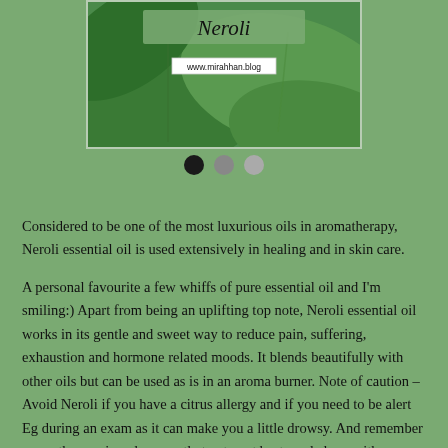[Figure (photo): Photo of green leaves with 'Neroli' text overlay and website URL www.mirahhan.blog]
Considered to be one of the most luxurious oils in aromatherapy, Neroli essential oil is used extensively in healing and in skin care.
A personal favourite a few whiffs of pure essential oil and I'm smiling:) Apart from being an uplifting top note, Neroli essential oil works in its gentle and sweet way to reduce pain, suffering, exhaustion and hormone related moods. It blends beautifully with other oils but can be used as is in an aroma burner. Note of caution – Avoid Neroli if you have a citrus allergy and if you need to be alert Eg during an exam as it can make you a little drowsy. And remember aromatherapy is a slow, gentle treatment best used along with allopathy and if not sure, check with your